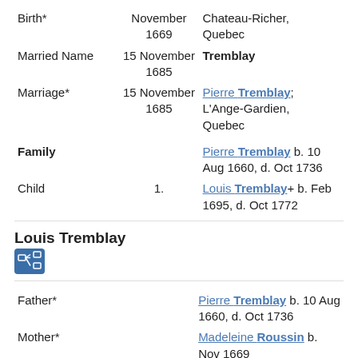| Event | Date | Details |
| --- | --- | --- |
| Birth* | November 1669 | Chateau-Richer, Quebec |
| Married Name | 15 November 1685 | Tremblay |
| Marriage* | 15 November 1685 | Pierre Tremblay; L'Ange-Gardien, Quebec |
| Family |  | Pierre Tremblay b. 10 Aug 1660, d. Oct 1736 |
| Child | 1. | Louis Tremblay+ b. Feb 1695, d. Oct 1772 |
Louis Tremblay
[Figure (other): Icon representing family tree/relationship links]
| Role | Date | Details |
| --- | --- | --- |
| Father* |  | Pierre Tremblay b. 10 Aug 1660, d. Oct 1736 |
| Mother* |  | Madeleine Roussin b. Nov 1669 |
| Birth* | February 1695 | Petit-Riviere |